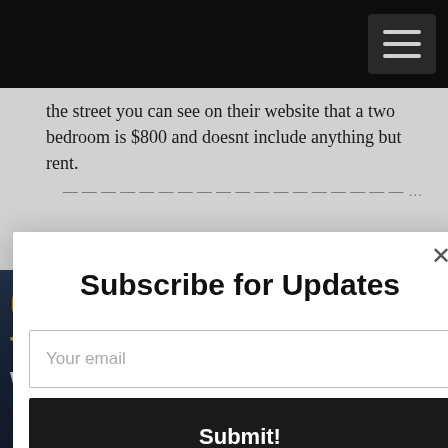the street you can see on their website that a two bedroom is $800 and doesnt include anything but rent.
[Figure (screenshot): Modal dialog overlay on a website showing a newsletter subscription form with title 'Subscribe for Updates', an email input field with placeholder 'Your email', and a dark Submit button. Background shows website navigation bar with hamburger menu and partially visible article text.]
Subscribe for Updates
Your email
Submit!